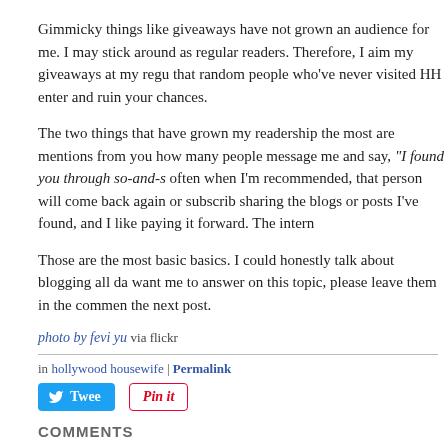Gimmicky things like giveaways have not grown an audience for me. I may stick around as regular readers. Therefore, I aim my giveaways at my regular readers so that random people who've never visited HH enter and ruin your chances.
The two things that have grown my readership the most are mentions from other bloggers. You'd be amazed how many people message me and say, "I found you through so-and-so's blog." And very often when I'm recommended, that person will come back again or subscribe. So I'm always sharing the blogs or posts I've found, and I like paying it forward. The internet is big enough.
Those are the most basic basics. I could honestly talk about blogging all day long. If there are questions you want me to answer on this topic, please leave them in the comments and I'll address them in the next post.
photo by fevi yu via flickr
in hollywood housewife | Permalink
Tweet
Pin it
COMMENTS
Comments on this post are closed.
POWERED BY TypePad